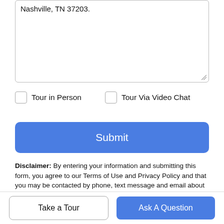Nashville, TN 37203.
Tour in Person
Tour Via Video Chat
Submit
Disclaimer: By entering your information and submitting this form, you agree to our Terms of Use and Privacy Policy and that you may be contacted by phone, text message and email about your inquiry.
Properties marked with the IDX logo are provided courtesy of the RealTracs Internet Data Exchange Program. Some or all of the listings may not
Take a Tour
Ask A Question